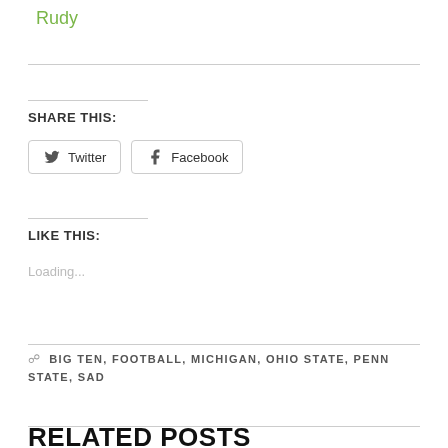Rudy
SHARE THIS:
Twitter
Facebook
LIKE THIS:
Loading...
BIG TEN, FOOTBALL, MICHIGAN, OHIO STATE, PENN STATE, SAD
RELATED POSTS